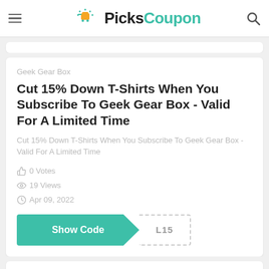PicksCoupon
Geek Gear Box
Cut 15% Down T-Shirts When You Subscribe To Geek Gear Box - Valid For A Limited Time
Cut 15% Down T-Shirts When You Subscribe To Geek Gear Box - Valid For A Limited Time
0 Votes
19 Views
Apr 09, 2022
Show Code L15
Trim Healthy Mama